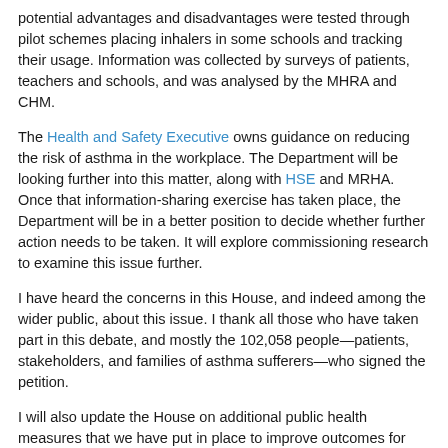potential advantages and disadvantages were tested through pilot schemes placing inhalers in some schools and tracking their usage. Information was collected by surveys of patients, teachers and schools, and was analysed by the MHRA and CHM.
The Health and Safety Executive owns guidance on reducing the risk of asthma in the workplace. The Department will be looking further into this matter, along with HSE and MRHA. Once that information-sharing exercise has taken place, the Department will be in a better position to decide whether further action needs to be taken. It will explore commissioning research to examine this issue further.
I have heard the concerns in this House, and indeed among the wider public, about this issue. I thank all those who have taken part in this debate, and mostly the 102,058 people—patients, stakeholders, and families of asthma sufferers—who signed the petition.
I will also update the House on additional public health measures that we have put in place to improve outcomes for people with asthma. The 2019 NHS long-term plan sets out commitments and objectives for the NHS for the next 10 years. It includes respiratory disease as a national clinical priority and aims to improve outcomes for patients, including those with asthma. The respiratory interventions proposed in the NHS long-term plan include early and accurate diagnosis of respiratory